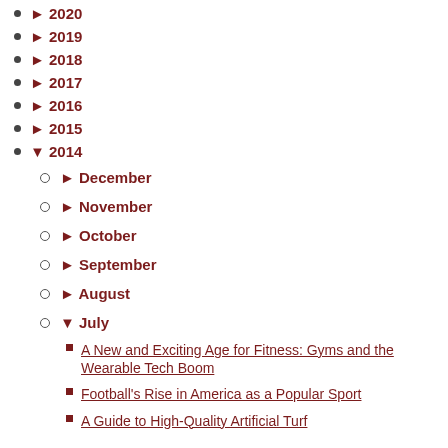► 2020
► 2019
► 2018
► 2017
► 2016
► 2015
▼ 2014
► December
► November
► October
► September
► August
▼ July
A New and Exciting Age for Fitness: Gyms and the Wearable Tech Boom
Football's Rise in America as a Popular Sport
A Guide to High-Quality Artificial Turf